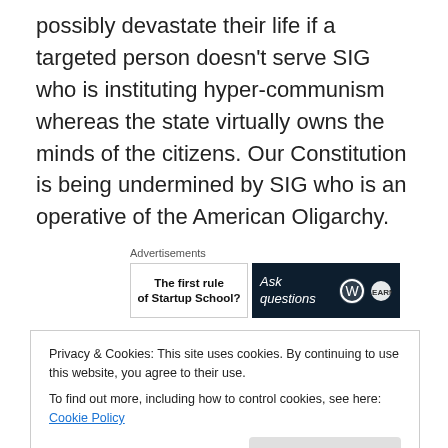possibly devastate their life if a targeted person doesn't serve SIG who is instituting hyper-communism whereas the state virtually owns the minds of the citizens. Our Constitution is being undermined by SIG who is an operative of the American Oligarchy.
[Figure (other): Advertisement block with two ads: a light ad reading 'The first rule of Startup School?' and a dark ad reading 'Ask questions' with WordPress logos]
McCarthyism has a bad rap as advanced by SIG's snake organization. But, the truth is not totally on either side.
Privacy & Cookies: This site uses cookies. By continuing to use this website, you agree to their use.
To find out more, including how to control cookies, see here: Cookie Policy
Activity did make a wide sweep and included a lot of